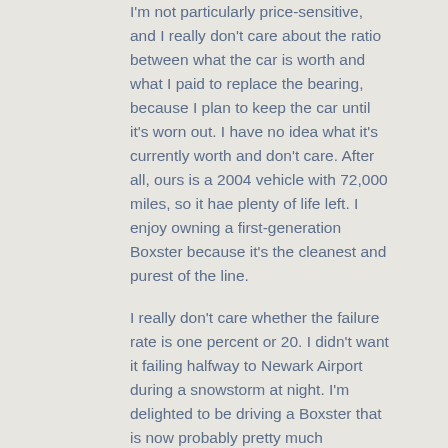I'm not particularly price-sensitive, and I really don't care about the ratio between what the car is worth and what I paid to replace the bearing, because I plan to keep the car until it's worn out. I have no idea what it's currently worth and don't care. After all, ours is a 2004 vehicle with 72,000 miles, so it hae plenty of life left. I enjoy owning a first-generation Boxster because it's the cleanest and purest of the line.
I really don't care whether the failure rate is one percent or 20. I didn't want it failing halfway to Newark Airport during a snowstorm at night. I'm delighted to be driving a Boxster that is now probably pretty much bulletproof.
(The bearing that Porsche chose to